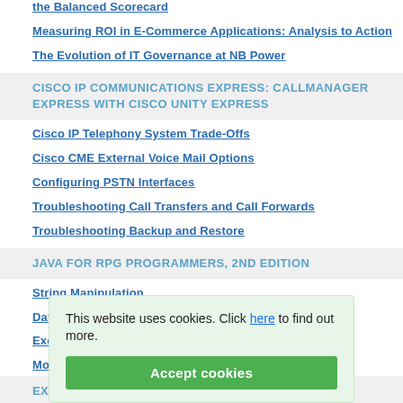the Balanced Scorecard
Measuring ROI in E-Commerce Applications: Analysis to Action
The Evolution of IT Governance at NB Power
CISCO IP COMMUNICATIONS EXPRESS: CALLMANAGER EXPRESS WITH CISCO UNITY EXPRESS
Cisco IP Telephony System Trade-Offs
Cisco CME External Voice Mail Options
Configuring PSTN Interfaces
Troubleshooting Call Transfers and Call Forwards
Troubleshooting Backup and Restore
JAVA FOR RPG PROGRAMMERS, 2ND EDITION
String Manipulation
Date And Time Manipulation
Exceptions
More Java
Ap
EXCEL SCIENTIFIC AND ENGINEERING COOKBOOK
This website uses cookies. Click here to find out more.